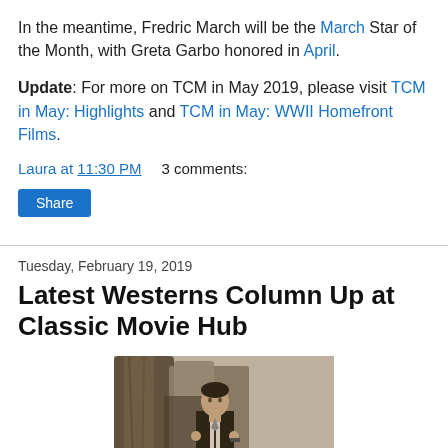In the meantime, Fredric March will be the March Star of the Month, with Greta Garbo honored in April.
Update: For more on TCM in May 2019, please visit TCM in May: Highlights and TCM in May: WWII Homefront Films.
Laura at 11:30 PM   3 comments:
Share
Tuesday, February 19, 2019
Latest Westerns Column Up at Classic Movie Hub
[Figure (photo): Black and white photograph of a man in Western attire seated outdoors near a large tree trunk]